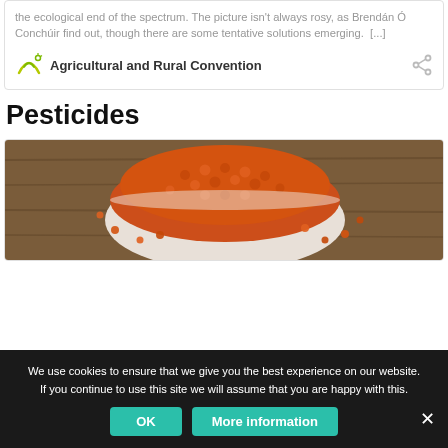the ecological end of the spectrum. The picture isn't always rosy, as Brendán Ó Conchúir find out, though there are some tentative solutions emerging.  [...]
Agricultural and Rural Convention
Pesticides
[Figure (photo): A bowl of red/orange lentils spilling onto a wooden surface]
We use cookies to ensure that we give you the best experience on our website. If you continue to use this site we will assume that you are happy with this.